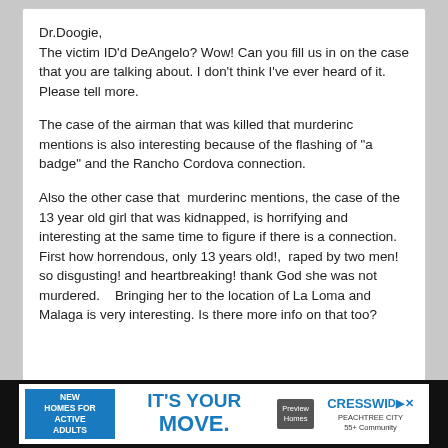Dr.Doogie,
The victim ID'd DeAngelo? Wow! Can you fill us in on the case that you are talking about. I don't think I've ever heard of it.  Please tell more.

The case of the airman that was killed that murderinc mentions is also interesting because of the flashing of "a badge" and the Rancho Cordova connection.

Also the other case that  murderinc mentions, the case of the 13 year old girl that was kidnapped, is horrifying and interesting at the same time to figure if there is a connection. First how horrendous, only 13 years old!,  raped by two men!  so disgusting! and heartbreaking! thank God she was not murdered.   Bringing her to the location of La Loma and Malaga is very interesting. Is there more info on that too?
The second victim was walking from her parking spot to the Memorial Auditorium to attend a concert by Loggins and Messina on July 15th, 1973 when she was kidnapped by two men who forced her into their car. (I have confirmed that L&M did have a concert there on that date.) The man she
[Figure (other): Advertisement banner: 'NEW HOMES FOR ACTIVE ADULTS | IT'S YOUR MOVE. | Preview Homes | CRESSWIND PEACHTREE CITY 55+ Community']